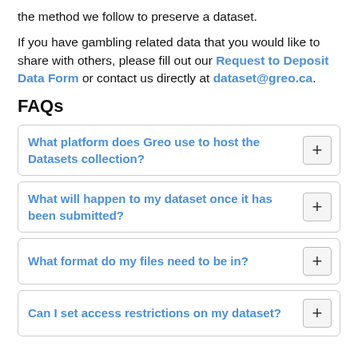the method we follow to preserve a dataset.
If you have gambling related data that you would like to share with others, please fill out our Request to Deposit Data Form or contact us directly at dataset@greo.ca.
FAQs
What platform does Greo use to host the Datasets collection?
What will happen to my dataset once it has been submitted?
What format do my files need to be in?
Can I set access restrictions on my dataset?